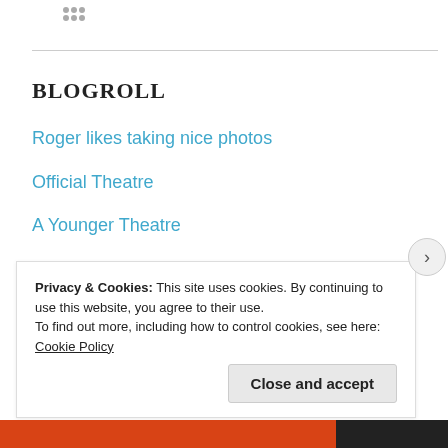[Figure (logo): Small dotted logo/icon in upper left area]
BLOGROLL
Roger likes taking nice photos
Official Theatre
A Younger Theatre
Life in the cheap seats
West End Whingers
Carousel of Fantasies
Privacy & Cookies: This site uses cookies. By continuing to use this website, you agree to their use.
To find out more, including how to control cookies, see here: Cookie Policy
Close and accept